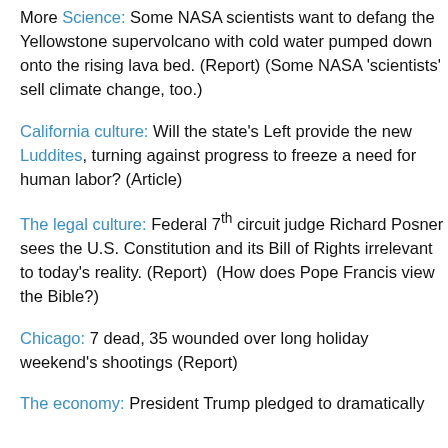More Science: Some NASA scientists want to defang the Yellowstone supervolcano with cold water pumped down onto the rising lava bed. (Report) (Some NASA 'scientists' sell climate change, too.)
California culture: Will the state's Left provide the new Luddites, turning against progress to freeze a need for human labor? (Article)
The legal culture: Federal 7th circuit judge Richard Posner sees the U.S. Constitution and its Bill of Rights irrelevant to today's reality. (Report)  (How does Pope Francis view the Bible?)
Chicago: 7 dead, 35 wounded over long holiday weekend's shootings (Report)
The economy: President Trump pledged to dramatically